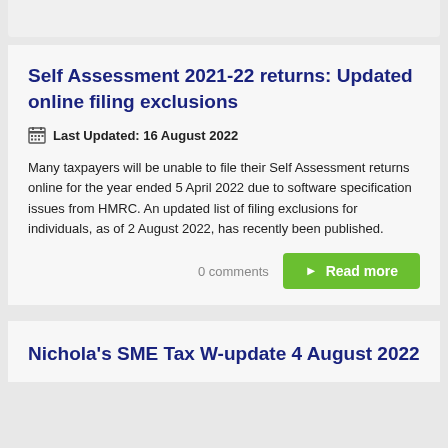Self Assessment 2021-22 returns: Updated online filing exclusions
Last Updated: 16 August 2022
Many taxpayers will be unable to file their Self Assessment returns online for the year ended 5 April 2022 due to software specification issues from HMRC. An updated list of filing exclusions for individuals, as of 2 August 2022, has recently been published.
0 comments
Nichola's SME Tax W-update 4 August 2022